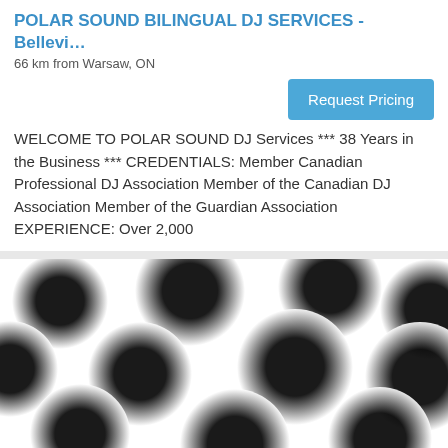POLAR SOUND BILINGUAL DJ SERVICES - Bellevi...
66 km from Warsaw, ON
Request Pricing
WELCOME TO POLAR SOUND DJ Services *** 38 Years in the Business *** CREDENTIALS: Member Canadian Professional DJ Association Member of the Canadian DJ Association Member of the Guardian Association EXPERIENCE: Over 2,000
[Figure (photo): Close-up blurred photo of black vinyl records or disc-shaped objects overlapping on a white background]
Future Vibes Entertainment - Belleville